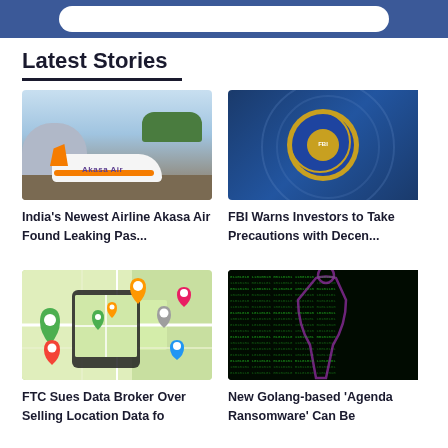Latest Stories
[Figure (photo): Akasa Air airplane on tarmac near hangar with trees in background]
India's Newest Airline Akasa Air Found Leaking Pas...
[Figure (photo): FBI seal/logo on blue background]
FBI Warns Investors to Take Precautions with Decen...
[Figure (photo): Map application on smartphone with multiple location pins]
FTC Sues Data Broker Over Selling Location Data fo
[Figure (photo): Green matrix-style code text forming a face/skull shape on dark background representing ransomware]
New Golang-based 'Agenda Ransomware' Can Be